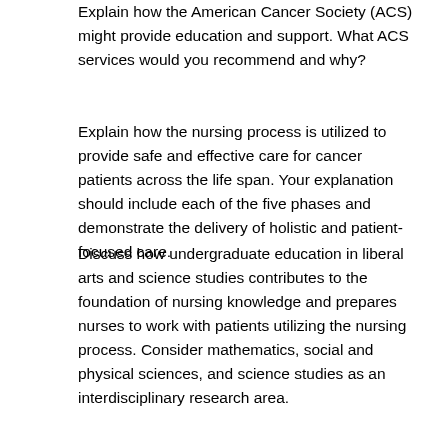Explain how the American Cancer Society (ACS) might provide education and support. What ACS services would you recommend and why?
Explain how the nursing process is utilized to provide safe and effective care for cancer patients across the life span. Your explanation should include each of the five phases and demonstrate the delivery of holistic and patient-focused care.
Discuss how undergraduate education in liberal arts and science studies contributes to the foundation of nursing knowledge and prepares nurses to work with patients utilizing the nursing process. Consider mathematics, social and physical sciences, and science studies as an interdisciplinary research area.
You are required to cite to a minimum of four sources to complete this assignment. Sources must be published within the last 5 years and appropriate for the assignment criteria and relevant to nursing practice.
Prepare this assignment according to the guidelines found in the APA Style Guide, located in the Student Success Center. An abstract is not required.
This assignment uses a rubric. Please review the rubric prior to beginning the assignment to become familiar with the